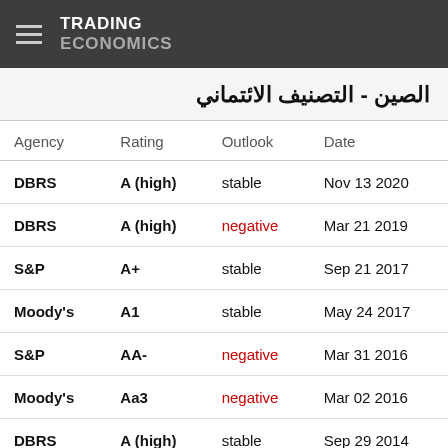TRADING ECONOMICS
الصين - التصنيف الائتماني
| Agency | Rating | Outlook | Date |
| --- | --- | --- | --- |
| DBRS | A (high) | stable | Nov 13 2020 |
| DBRS | A (high) | negative | Mar 21 2019 |
| S&P | A+ | stable | Sep 21 2017 |
| Moody's | A1 | stable | May 24 2017 |
| S&P | AA- | negative | Mar 31 2016 |
| Moody's | Aa3 | negative | Mar 02 2016 |
| DBRS | A (high) | stable | Sep 29 2014 |
| Moody's | Aa3 | stable | Apr 16 2013 |